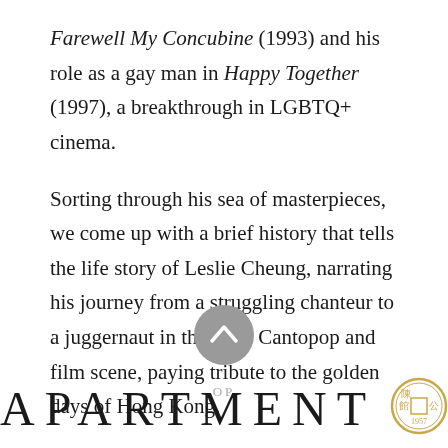Farewell My Concubine (1993) and his role as a gay man in Happy Together (1997), a breakthrough in LGBTQ+ cinema.
Sorting through his sea of masterpieces, we come up with a brief history that tells the life story of Leslie Cheung, narrating his journey from a struggling chanteur to a juggernaut in the local Cantopop and film scene, paying tribute to the golden days of Hong Kong.
[Figure (other): A grey circular scroll-up button with a white upward chevron arrow]
APARTMENT